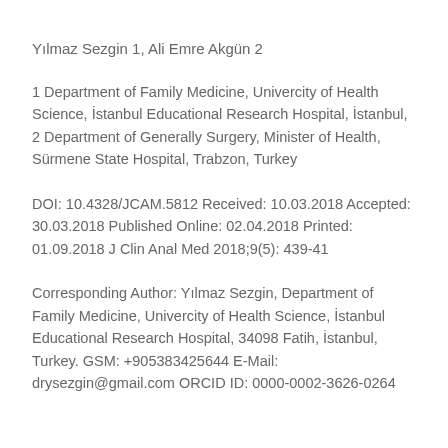Yılmaz Sezgin 1, Ali Emre Akgün 2
1 Department of Family Medicine, Univercity of Health Science, İstanbul Educational Research Hospital, İstanbul, 2 Department of Generally Surgery, Minister of Health, Sürmene State Hospital, Trabzon, Turkey
DOI: 10.4328/JCAM.5812 Received: 10.03.2018 Accepted: 30.03.2018 Published Online: 02.04.2018 Printed: 01.09.2018 J Clin Anal Med 2018;9(5): 439-41
Corresponding Author: Yılmaz Sezgin, Department of Family Medicine, Univercity of Health Science, İstanbul Educational Research Hospital, 34098 Fatih, İstanbul, Turkey. GSM: +905383425644 E-Mail: drysezgin@gmail.com ORCID ID: 0000-0002-3626-0264